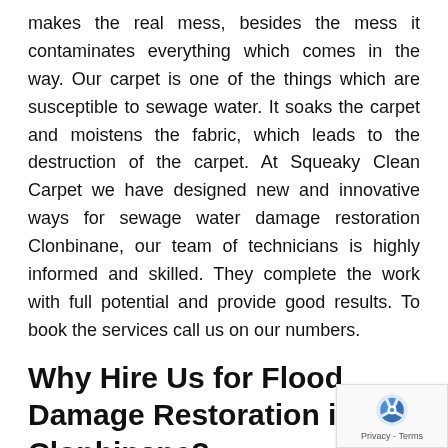makes the real mess, besides the mess it contaminates everything which comes in the way. Our carpet is one of the things which are susceptible to sewage water. It soaks the carpet and moistens the fabric, which leads to the destruction of the carpet. At Squeaky Clean Carpet we have designed new and innovative ways for sewage water damage restoration Clonbinane, our team of technicians is highly informed and skilled. They complete the work with full potential and provide good results. To book the services call us on our numbers.
Why Hire Us for Flood Damage Restoration in Clonbinane?
We provide free quotes, with no obligatio
We industriously work with renowned insurance